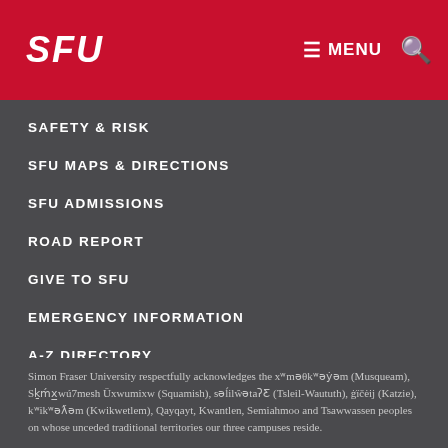SFU | MENU 🔍
SAFETY & RISK
SFU MAPS & DIRECTIONS
SFU ADMISSIONS
ROAD REPORT
GIVE TO SFU
EMERGENCY INFORMATION
A-Z DIRECTORY
Simon Fraser University respectfully acknowledges the xʷməθkʷəẏəm (Musqueam), Sḵḿx̲wú7mesh Úxwumixw (Squamish), səĺilŵətaʔƸ (Tsleil-Waututh), q̇ičeẏ (Katzie), kʷikʷəƛam (Kwikwetlem), Qayqayt, Kwantlen, Semiahmoo and Tsawwassen peoples on whose unceded traditional territories our three campuses reside.